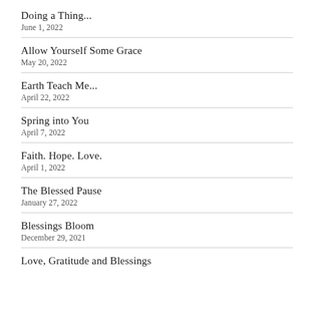Doing a Thing...
June 1, 2022
Allow Yourself Some Grace
May 20, 2022
Earth Teach Me...
April 22, 2022
Spring into You
April 7, 2022
Faith. Hope. Love.
April 1, 2022
The Blessed Pause
January 27, 2022
Blessings Bloom
December 29, 2021
Love, Gratitude and Blessings